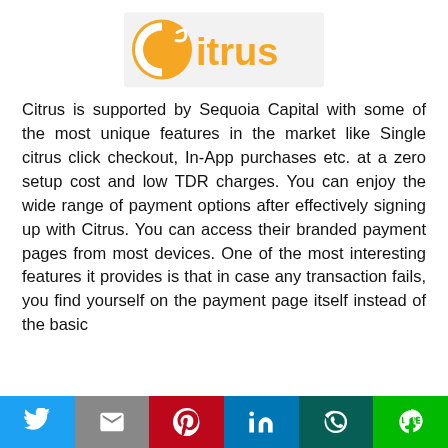[Figure (logo): Citrus logo — orange circle with white C letter, followed by 'itrus' in orange text]
Citrus is supported by Sequoia Capital with some of the most unique features in the market like Single citrus click checkout, In-App purchases etc. at a zero setup cost and low TDR charges. You can enjoy the wide range of payment options after effectively signing up with Citrus. You can access their branded payment pages from most devices. One of the most interesting features it provides is that in case any transaction fails, you find yourself on the payment page itself instead of the basic